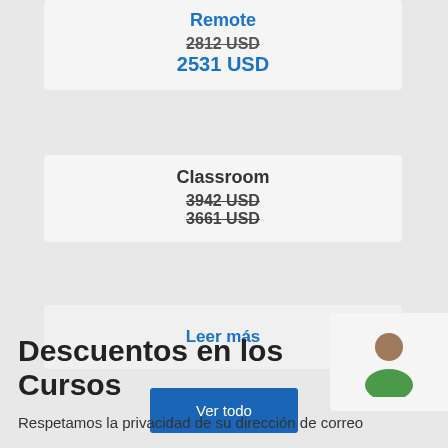Remote
2812 USD
2531 USD
Classroom
3942 USD
3661 USD
Leer más
Ver todo
[Figure (illustration): User/person icon with head and shoulders in brown and green colors]
Descuentos en los Cursos
Respetamos la privacidad de su dirección de correo